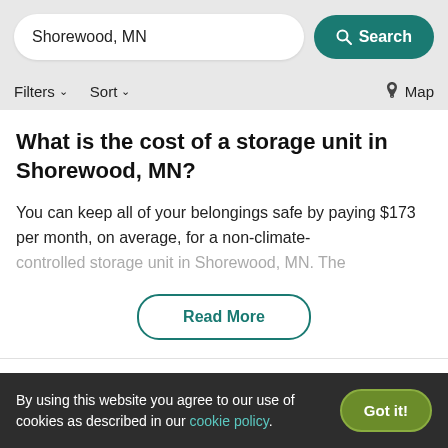Shorewood, MN  Search  Filters  Sort  Map
What is the cost of a storage unit in Shorewood, MN?
You can keep all of your belongings safe by paying $173 per month, on average, for a non-climate-controlled storage unit in Shorewood, MN. The
Read More
| Unit | Lowest | Average | Highest |
| --- | --- | --- | --- |
By using this website you agree to our use of cookies as described in our cookie policy.  Got it!